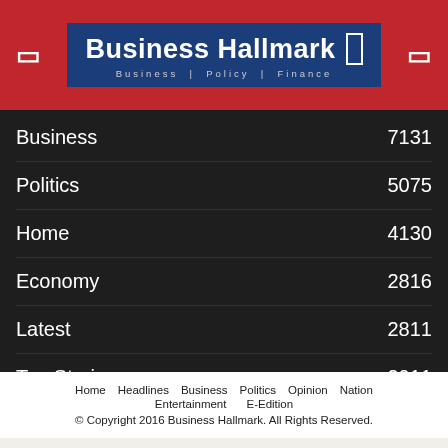Business Hallmark — Business | Policy | Finance
Business 7131
Politics 5075
Home 4130
Economy 2816
Latest 2811
Top Stories 2011
Home   Headlines   Business   Politics   Opinion   Nation   Entertainment   E-Edition
© Copyright 2016 Business Hallmark. All Rights Reserved.
[Figure (screenshot): Advertisement bar with social media icons (WhatsApp, Facebook, LinkedIn, Twitter, Gmail) and Amazon musical instruments promotion: Get 40% or More Off]